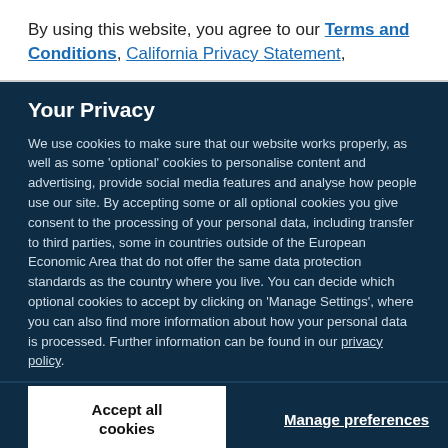By using this website, you agree to our Terms and Conditions, California Privacy Statement,
Your Privacy
We use cookies to make sure that our website works properly, as well as some 'optional' cookies to personalise content and advertising, provide social media features and analyse how people use our site. By accepting some or all optional cookies you give consent to the processing of your personal data, including transfer to third parties, some in countries outside of the European Economic Area that do not offer the same data protection standards as the country where you live. You can decide which optional cookies to accept by clicking on 'Manage Settings', where you can also find more information about how your personal data is processed. Further information can be found in our privacy policy.
Accept all cookies
Manage preferences